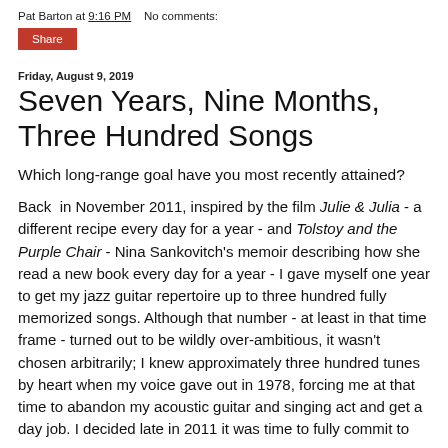Pat Barton at 9:16 PM    No comments:
Share
Friday, August 9, 2019
Seven Years, Nine Months, Three Hundred Songs
Which long-range goal have you most recently attained?
Back  in November 2011, inspired by the film Julie & Julia - a different recipe every day for a year - and Tolstoy and the Purple Chair - Nina Sankovitch's memoir describing how she read a new book every day for a year - I gave myself one year to get my jazz guitar repertoire up to three hundred fully memorized songs. Although that number - at least in that time frame - turned out to be wildly over-ambitious, it wasn't chosen arbitrarily; I knew approximately three hundred tunes by heart when my voice gave out in 1978, forcing me at that time to abandon my acoustic guitar and singing act and get a day job. I decided late in 2011 it was time to fully commit to